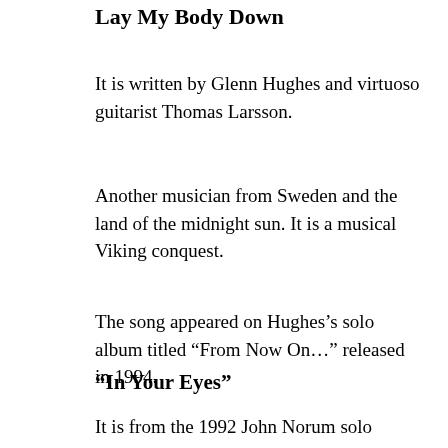Lay My Body Down
It is written by Glenn Hughes and virtuoso guitarist Thomas Larsson.
Another musician from Sweden and the land of the midnight sun. It is a musical Viking conquest.
The song appeared on Hughes’s solo album titled “From Now On…” released in 1994.
“In Your Eyes”
It is from the 1992 John Norum solo album “Face The Truth”